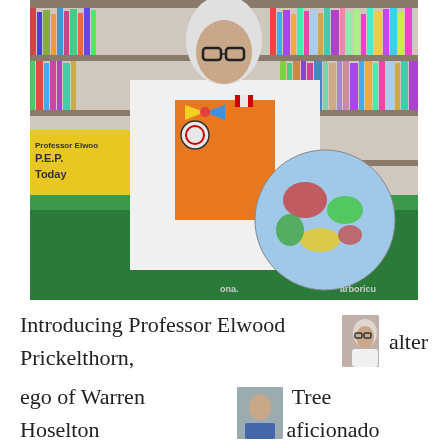[Figure (photo): A man dressed as Professor Elwood Prickelthorn in a white lab coat, orange shirt, colorful bow tie, white wig and glasses, holding a colorful globe, standing in a library/classroom setting with bookshelves in the background. A yellow sign reads 'Professor Elwoo... P.E.P. Today'. Green tablecloth visible in foreground.]
Introducing Professor Elwood Prickelthorn, [thumbnail] alter ego of Warren Hoselton [thumbnail] Tree aficionado